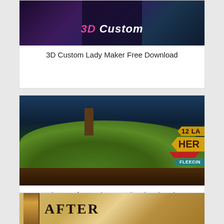[Figure (screenshot): Game thumbnail showing 3D Custom Lady Maker with anime-style 3D character and pink/white logo text]
3D Custom Lady Maker Free Download
[Figure (screenshot): Game thumbnail showing 12 Labours of Hercules VII: Fleecing the Fleece with green hills, tree stump, and game logo banners]
12 Labours of Hercules VII: Fleecing the Fleece (Platinum Edition) Free Download
[Figure (screenshot): Partially visible game thumbnail with scroll/parchment design and text beginning with AFTER]